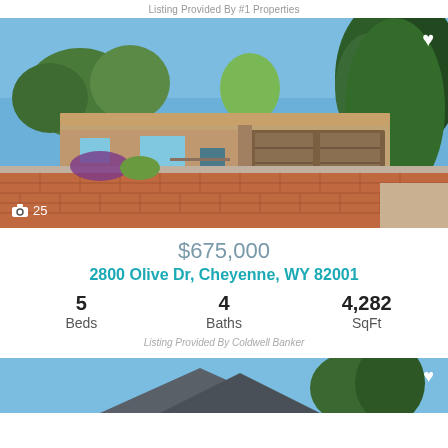Listing Provided By #1 Properties
[Figure (photo): Exterior photo of a single-story brick home with a wide two-car garage, brick-paved driveway, and landscaping with trees and purple flowers. Blue sky above.]
$675,000
2800 Olive Dr, Cheyenne, WY 82001
5 Beds  4 Baths  4,282 SqFt
Listing Provided By Coldwell Banker
[Figure (photo): Partial view of another property listing photo at the bottom of the page, showing a roofline against blue sky with trees.]